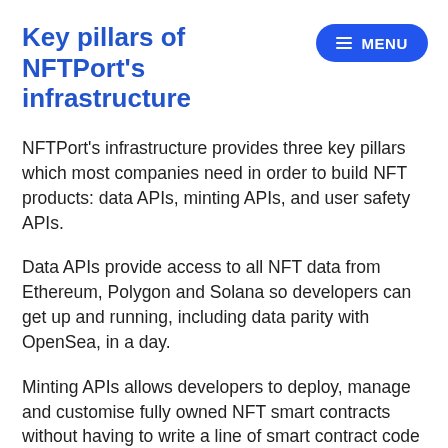Key pillars of NFTPort's infrastructure
NFTPort's infrastructure provides three key pillars which most companies need in order to build NFT products: data APIs, minting APIs, and user safety APIs.
Data APIs provide access to all NFT data from Ethereum, Polygon and Solana so developers can get up and running, including data parity with OpenSea, in a day.
Minting APIs allows developers to deploy, manage and customise fully owned NFT smart contracts without having to write a line of smart contract code or know the complex Web3 stack. This enables millions of Web3 developers to have a REST API